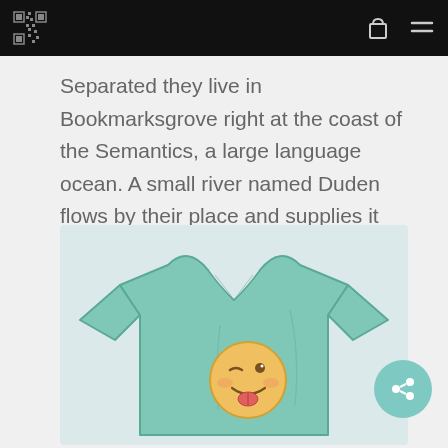[navigation bar with logo, bag icon, and menu icon]
Separated they live in Bookmarksgrove right at the coast of the Semantics, a large language ocean. A small river named Duden flows by their place and supplies it with the necessary regelialia.
[Figure (illustration): A mint/teal green v-neck t-shirt with a winking face emoji printed on the chest area, displayed on a light blue-gray background.]